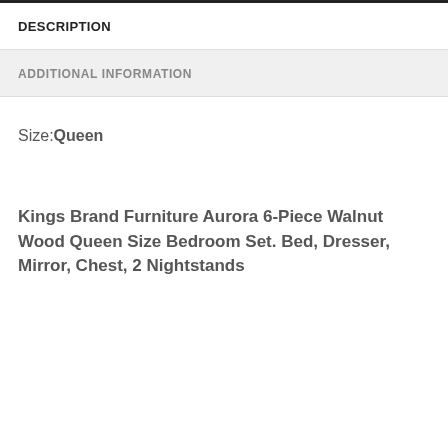DESCRIPTION
ADDITIONAL INFORMATION
Size:Queen
Kings Brand Furniture Aurora 6-Piece Walnut Wood Queen Size Bedroom Set. Bed, Dresser, Mirror, Chest, 2 Nightstands